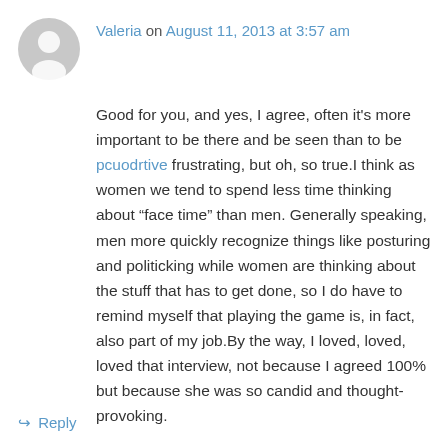[Figure (illustration): Gray circular avatar icon with a generic person silhouette]
Valeria on August 11, 2013 at 3:57 am
Good for you, and yes, I agree, often it's more important to be there and be seen than to be pcuodrtive frustrating, but oh, so true.I think as women we tend to spend less time thinking about “face time” than men. Generally speaking, men more quickly recognize things like posturing and politicking while women are thinking about the stuff that has to get done, so I do have to remind myself that playing the game is, in fact, also part of my job.By the way, I loved, loved, loved that interview, not because I agreed 100% but because she was so candid and thought-provoking.
↳ Reply